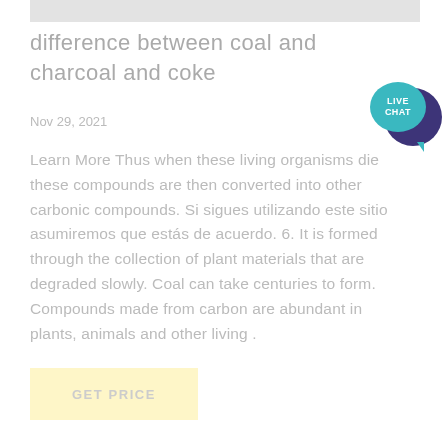[Figure (photo): Partial image strip at top of page, appears to be a cropped photo, mostly white/gray]
difference between coal and charcoal and coke
Nov 29, 2021
Learn More Thus when these living organisms die these compounds are then converted into other carbonic compounds. Si sigues utilizando este sitio asumiremos que estás de acuerdo. 6. It is formed through the collection of plant materials that are degraded slowly. Coal can take centuries to form. Compounds made from carbon are abundant in plants, animals and other living .
[Figure (infographic): Live Chat button widget — teal speech bubble with 'LIVE CHAT' text overlapping a dark purple circle]
GET PRICE